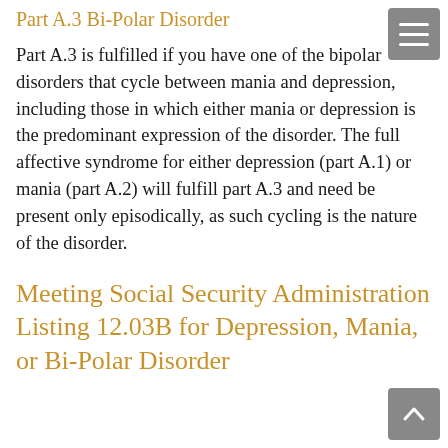Part A.3 Bi-Polar Disorder
Part A.3 is fulfilled if you have one of the bipolar disorders that cycle between mania and depression, including those in which either mania or depression is the predominant expression of the disorder. The full affective syndrome for either depression (part A.1) or mania (part A.2) will fulfill part A.3 and need be present only episodically, as such cycling is the nature of the disorder.
Meeting Social Security Administration Listing 12.03B for Depression, Mania, or Bi-Polar Disorder